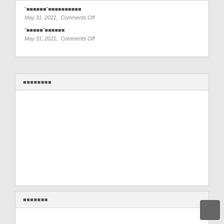“■■■■■■”■■■■■■■■■■
May 31, 2021, Comments Off
“■■■■■”■■■■■■
May 31, 2021, Comments Off
■■■■■■■■
■■■■■■■